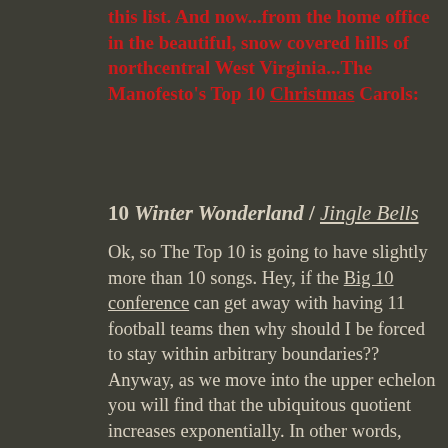this list. And now...from the home office in the beautiful, snow covered hills of northcentral West Virginia...The Manofesto's Top 10 Christmas Carols:
10 Winter Wonderland / Jingle Bells
Ok, so The Top 10 is going to have slightly more than 10 songs. Hey, if the Big 10 conference can get away with having 11 football teams then why should I be forced to stay within arbitrary boundaries?? Anyway, as we move into the upper echelon you will find that the ubiquitous quotient increases exponentially. In other words, now we're getting to the songs that you sing while caroling and hear on the radio several times per day this time of year. That kind of repetitiveness would serve to drive many of us nuts most of the time, but personally my love for Christmas carols